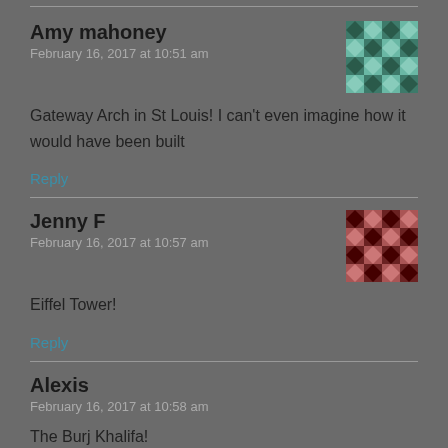Amy mahoney
February 16, 2017 at 10:51 am
Gateway Arch in St Louis! I can't even imagine how it would have been built
Reply
Jenny F
February 16, 2017 at 10:57 am
Eiffel Tower!
Reply
Alexis
February 16, 2017 at 10:58 am
The Burj Khalifa!